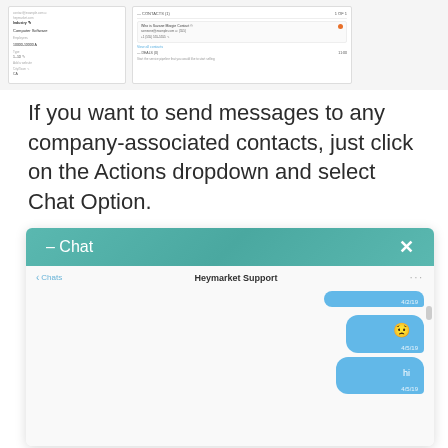[Figure (screenshot): Two UI panels at top: a left contact detail card and a right panel showing contacts/leads with an orange notification dot.]
If you want to send messages to any company-associated contacts, just click on the Actions dropdown and select Chat Option.
[Figure (screenshot): Chat window UI showing a teal gradient header '– Chat' with an X close button. Below is a chat interface with 'Heymarket Support' header, back arrow to Chats, and chat bubbles showing messages dated 4/2/19, 4/5/19 with emoji, and 4/5/19 with text 'hi'.]